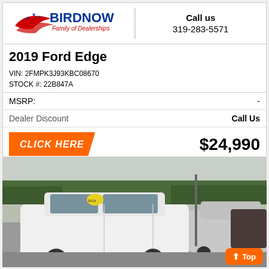[Figure (logo): Birdnow Family of Dealerships logo with eagle/flag motif]
Call us
319-283-5571
2019 Ford Edge
VIN: 2FMPK3J93KBC08670
STOCK #: 22B847A
MSRP: -
Dealer Discount    Call Us
CLICK HERE    $24,990
[Figure (photo): White 2019 Ford Edge SUV parked in a dealership lot with other vehicles visible in background, trees and cloudy sky overhead, yellow price sticker on windshield]